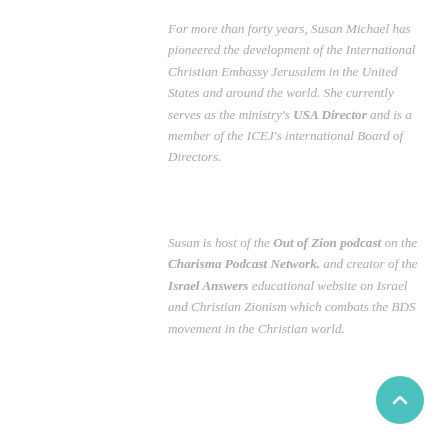For more than forty years, Susan Michael has pioneered the development of the International Christian Embassy Jerusalem in the United States and around the world. She currently serves as the ministry's USA Director and is a member of the ICEJ's international Board of Directors.
Susan is host of the Out of Zion podcast on the Charisma Podcast Network. and creator of the Israel Answers educational website on Israel and Christian Zionism which combats the BDS movement in the Christian world.